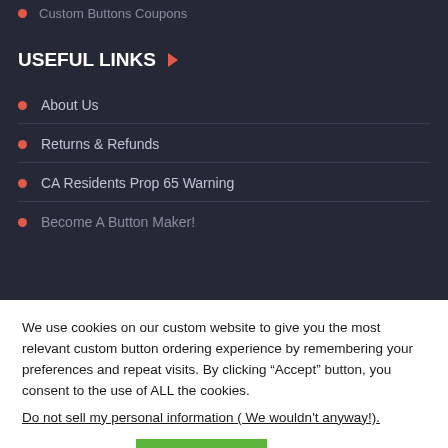Custom Buttons Coupons
USEFUL LINKS
About Us
Returns & Refunds
CA Residents Prop 65 Warning
Become A Button Maker!
We use cookies on our custom website to give you the most relevant custom button ordering experience by remembering your preferences and repeat visits. By clicking “Accept” button, you consent to the use of ALL the cookies.
Do not sell my personal information ( We wouldn't anyway!).
Cookie settings | ACCEPT